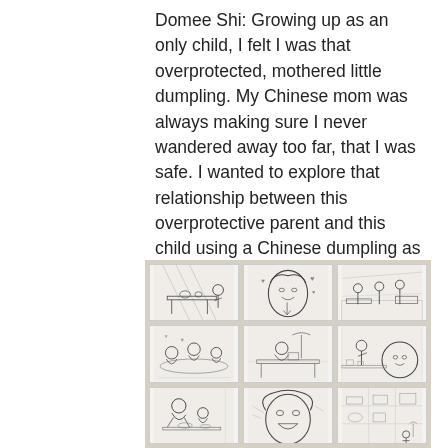Domee Shi: Growing up as an only child, I felt I was that overprotected, mothered little dumpling. My Chinese mom was always making sure I never wandered away too far, that I was safe. I wanted to explore that relationship between this overprotective parent and this child using a Chinese dumpling as a metaphor.
[Figure (photo): A photograph of 9 hand-drawn storyboard panels arranged in a 3x3 grid on a beige/tan surface. Each panel shows black-and-white pencil sketches of animated scenes featuring characters including a parent and child figure, interior settings, and action scenes.]